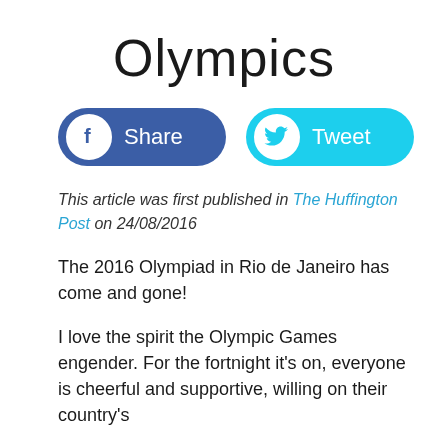Olympics
[Figure (other): Facebook Share button and Twitter Tweet button]
This article was first published in The Huffington Post on 24/08/2016
The 2016 Olympiad in Rio de Janeiro has come and gone!
I love the spirit the Olympic Games engender. For the fortnight it's on, everyone is cheerful and supportive, willing on their country's